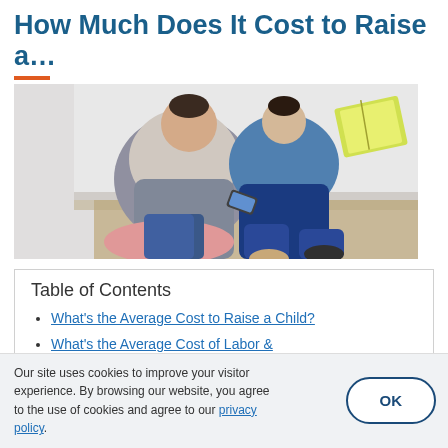How Much Does It Cost to Raise a…
[Figure (photo): Photo of an adult and child sitting on the floor together, the adult reading a book to the child]
Table of Contents
What's the Average Cost to Raise a Child?
What's the Average Cost of Labor & Delivery?
Our site uses cookies to improve your visitor experience. By browsing our website, you agree to the use of cookies and agree to our privacy policy.